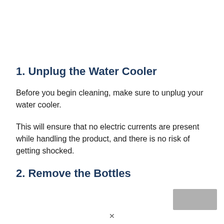1. Unplug the Water Cooler
Before you begin cleaning, make sure to unplug your water cooler.
This will ensure that no electric currents are present while handling the product, and there is no risk of getting shocked.
2. Remove the Bottles